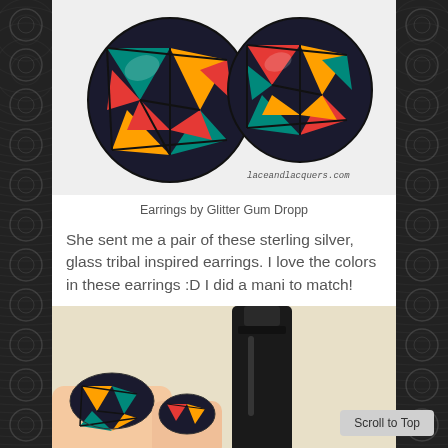[Figure (photo): Two round tribal-patterned colorful earrings with geometric multicolor design on white background, with laceandlacquers.com watermark]
Earrings by Glitter Gum Dropp
She sent me a pair of these sterling silver, glass tribal inspired earrings. I love the colors in these earrings :D I did a mani to match!
[Figure (photo): Hand holding a black nail polish bottle showing tribal colorful nail art matching the earrings]